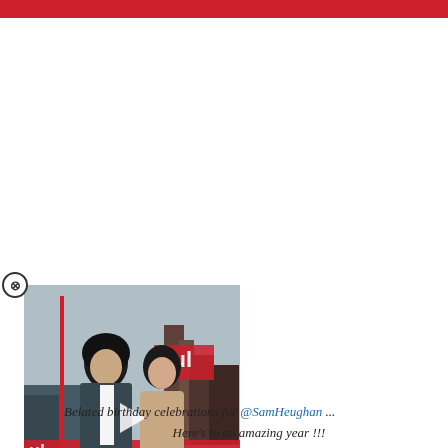[Figure (photo): A man with long dark curly hair in a dark suit jacket standing next to a woman with dark hair in a beige/nude dress, posing at what appears to be a movie premiere with red signage in the background. A white play button triangle overlay is visible on the image.]
Belated birthday celebrations for @SamHeughan ... Here's to an amazing year !!!